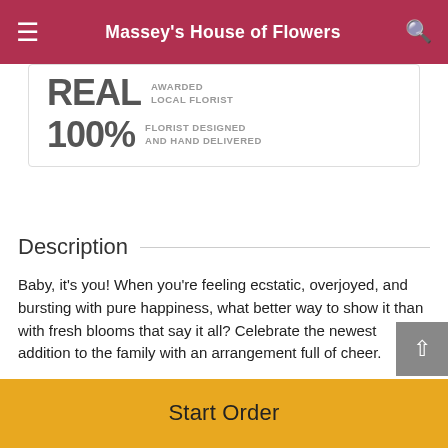Massey's House of Flowers
[Figure (infographic): Banner with text: REAL AWARDED LOCAL FLORIST | 100% FLORIST DESIGNED AND HAND DELIVERED]
Description
Baby, it's you! When you're feeling ecstatic, overjoyed, and bursting with pure happiness, what better way to show it than with fresh blooms that say it all? Celebrate the newest addition to the family with an arrangement full of cheer.
Yellow spray roses, white chrysanthemums, and baby's
Start Order